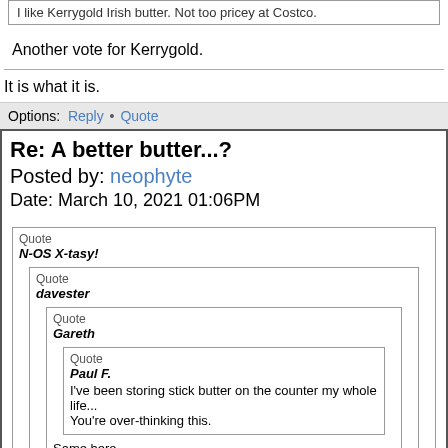I like Kerrygold Irish butter. Not too pricey at Costco.
Another vote for Kerrygold.
It is what it is.
Options: Reply • Quote
Re: A better butter...?
Posted by: neophyte
Date: March 10, 2021 01:06PM
Quote N-OS X-tasy! Quote davester Quote Gareth Quote Paul F. I've been storing stick butter on the counter my whole life... You're over-thinking this. Same here. Ditto. I like Kerrygold Irish butter. Not too pricey at Costco.
Another vote for Kerrygold.